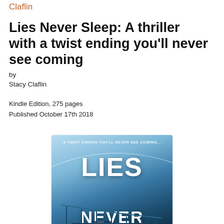Claflin
Lies Never Sleep: A thriller with a twist ending you'll never see coming
by
Stacy Claflin
Kindle Edition, 275 pages
Published October 17th 2018
[Figure (illustration): Book cover of 'Lies Never Sleep' by Stacy Claflin. Blue icy background with white bold text reading 'LIES NEVER' at the top portion, tagline 'A TWIST ENDING YOU'LL NEVER SEE COMING...' at the top, and a staircase/railing graphic at the bottom.]